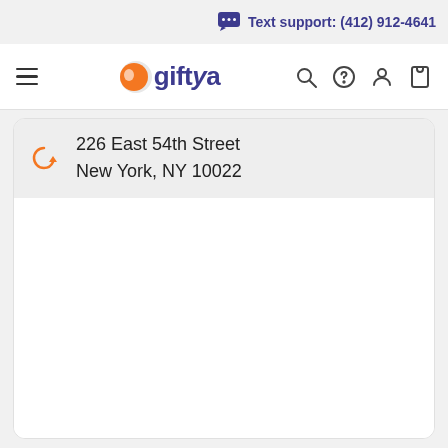Text support: (412) 912-4641
[Figure (screenshot): GiftYa website navigation bar with hamburger menu, GiftYa logo, search icon, help icon, account icon, and cart icon]
226 East 54th Street
New York, NY 10022